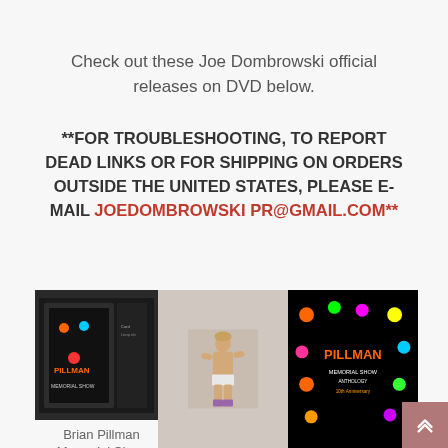Check out these Joe Dombrowski official releases on DVD below.
**FOR TROUBLESHOOTING, TO REPORT DEAD LINKS OR FOR SHIPPING ON ORDERS OUTSIDE THE UNITED STATES, PLEASE E-MAIL JOEDOMBROWSKI PR@GMAIL.COM**
[Figure (photo): Brian Pillman Memorial Show DVD cover and anthology cover with a wrestler photo in center]
Brian Pillman Memorial Show